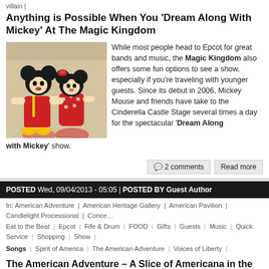villain |
Anything is Possible When You ‘Dream Along With Mickey’ At The Magic Kingdom
[Figure (photo): Mickey Mouse and Minnie Mouse characters in costume on stage at Cinderella Castle]
While most people head to Epcot for great bands and music, the Magic Kingdom also offers some fun options to see a show, especially if you're traveling with younger guests. Since its debut in 2006, Mickey Mouse and friends have take to the Cinderella Castle Stage several times a day for the spectacular ‘Dream Along with Mickey’ show.
2 comments | Read more
POSTED Wed, 09/04/2013 - 05:05 | POSTED BY Guest Author
In: American Adventure | American Heritage Gallery | American Pavilion | Candlelight Processional | Concerts | Eat to the Beat | Epcot | Fife & Drum | FOOD | Gifts | Guests | Music | Quick Service | Shopping | Show | Songs | Spirit of America | The American Adventure | Voices of Liberty |
The American Adventure – A Slice of Americana in the Middle of World Showcase
[Figure (photo): Outdoor scene at The American Adventure pavilion at Epcot World Showcase]
Perhaps you're guilty of this too - often as I'm strolling through World Showcase and come upon The